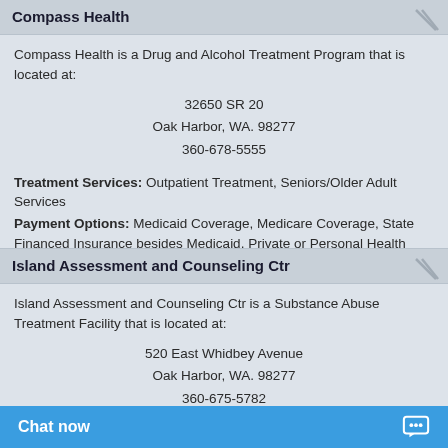Compass Health
Compass Health is a Drug and Alcohol Treatment Program that is located at:
32650 SR 20
Oak Harbor, WA. 98277
360-678-5555
Treatment Services: Outpatient Treatment, Seniors/Older Adult Services
Payment Options: Medicaid Coverage, Medicare Coverage, State Financed Insurance besides Medicaid, Private or Personal Health Insurance
Island Assessment and Counseling Ctr
Island Assessment and Counseling Ctr is a Substance Abuse Treatment Facility that is located at:
520 East Whidbey Avenue
Oak Harbor, WA. 98277
360-675-5782
Treatment Services: Substance Abuse Programs, Outpatient Treatment, Dui/Dwi Offender Programs
Payment Options: Self Pay, Health Insurance, Income Based
Chat now